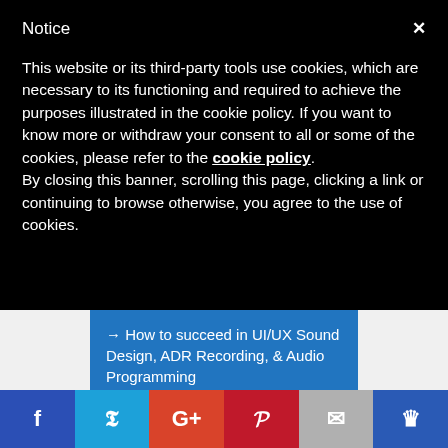Notice
This website or its third-party tools use cookies, which are necessary to its functioning and required to achieve the purposes illustrated in the cookie policy. If you want to know more or withdraw your consent to all or some of the cookies, please refer to the cookie policy.
By closing this banner, scrolling this page, clicking a link or continuing to browse otherwise, you agree to the use of cookies.
→ How to succeed in UI/UX Sound Design, ADR Recording, & Audio Programming
→ How to succeed in Audio Branding, Music Editing, and sound